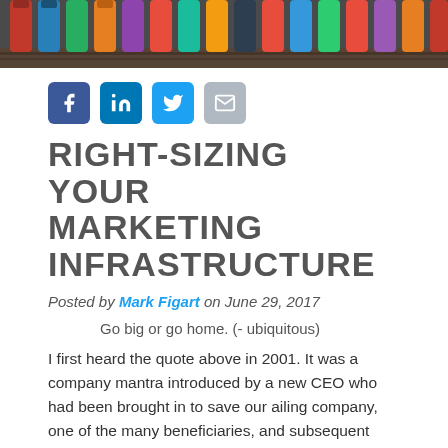[Figure (photo): Top banner photo of colorful objects (pens/markers) on a wooden surface, cropped at top]
[Figure (infographic): Social media share buttons: Facebook (blue), LinkedIn (blue), Twitter (blue), Email (grey)]
RIGHT-SIZING YOUR MARKETING INFRASTRUCTURE
Posted by Mark Figart on June 29, 2017
Go big or go home. (- ubiquitous)
I first heard the quote above in 2001. It was a company mantra introduced by a new CEO who had been brought in to save our ailing company, one of the many beneficiaries, and subsequent victims, of the dot-com bubble. Four months later the firm shut its doors. We went home.